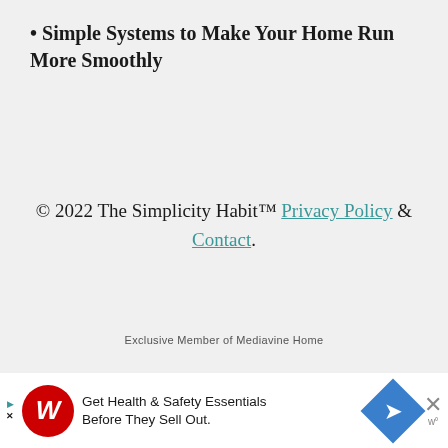Simple Systems to Make Your Home Run More Smoothly
© 2022 The Simplicity Habit™ Privacy Policy & Contact.
Exclusive Member of Mediavine Home
[Figure (other): Advertisement banner: Walgreens ad reading 'Get Health & Safety Essentials Before They Sell Out.' with Walgreens logo, navigation arrow, and close button]